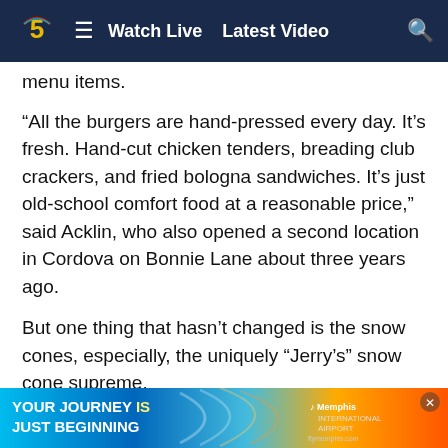Watch Live   Latest Video
menu items.
“All the burgers are hand-pressed every day. It’s fresh. Hand-cut chicken tenders, breading club crackers, and fried bologna sandwiches. It’s just old-school comfort food at a reasonable price,” said Acklin, who also opened a second location in Cordova on Bonnie Lane about three years ago.
But one thing that hasn’t changed is the snow cones, especially, the uniquely “Jerry’s” snow cone supreme.
“Well, I mean, you haven’t had a snow cone until you’ve eaten a Jerry’s Snow Cone. It’s as soft as snow and we layer ice cream inside them, and we have over a hundred flavors,” boasted Acklin.
[Figure (infographic): Advertisement banner: YOUR JOURNEY IS JUST BEGINNING, Memphis International Airport]